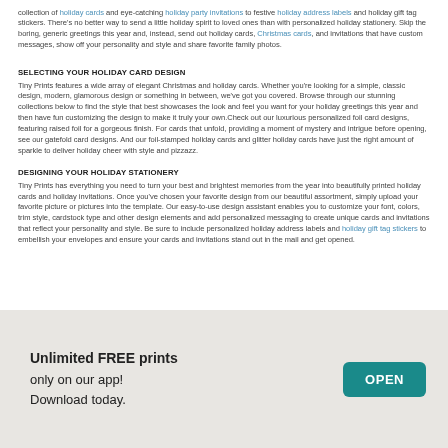collection of holiday cards and eye-catching holiday party invitations to festive holiday address labels and holiday gift tag stickers. There's no better way to send a little holiday spirit to loved ones than with personalized holiday stationery. Skip the boring, generic greetings this year and, instead, send out holiday cards, Christmas cards, and invitations that have custom messages, show off your personality and style and share favorite family photos.
SELECTING YOUR HOLIDAY CARD DESIGN
Tiny Prints features a wide array of elegant Christmas and holiday cards. Whether you're looking for a simple, classic design, modern, glamorous design or something in between, we've got you covered. Browse through our stunning collections below to find the style that best showcases the look and feel you want for your holiday greetings this year and then have fun customizing the design to make it truly your own.Check out our luxurious personalized foil card designs, featuring raised foil for a gorgeous finish. For cards that unfold, providing a moment of mystery and intrigue before opening, see our gatefold card designs. And our foil-stamped holiday cards and glitter holiday cards have just the right amount of sparkle to deliver holiday cheer with style and pizzazz.
DESIGNING YOUR HOLIDAY STATIONERY
Tiny Prints has everything you need to turn your best and brightest memories from the year into beautifully printed holiday cards and holiday invitations. Once you've chosen your favorite design from our beautiful assortment, simply upload your favorite picture or pictures into the template. Our easy-to-use design assistant enables you to customize your font, colors, trim style, cardstock type and other design elements and add personalized messaging to create unique cards and invitations that reflect your personality and style. Be sure to include personalized holiday address labels and holiday gift tag stickers to embellish your envelopes and ensure your cards and invitations stand out in the mail and get opened.
Unlimited FREE prints
only on our app!
Download today.
OPEN